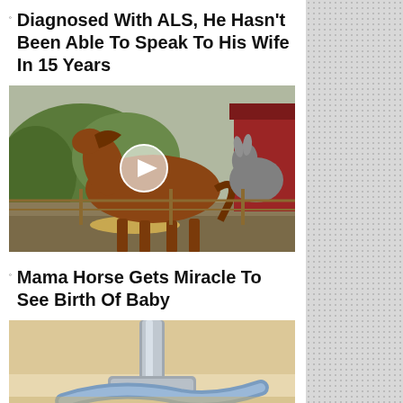Diagnosed With ALS, He Hasn't Been Able To Speak To His Wife In 15 Years
[Figure (photo): A brown horse standing in a field with a donkey partially visible in the background and a red barn. A play button overlay indicates this is a video thumbnail.]
Mama Horse Gets Miracle To See Birth Of Baby
[Figure (photo): Close-up photo of a metal tool or clamp with a light blue ribbon or strap, on a light-colored surface.]